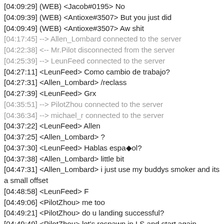[04:09:29] (WEB) <Jacob#0195> No
[04:09:39] (WEB) <Antioxe#3507> But you just did
[04:09:49] (WEB) <Antioxe#3507> Aw shit
[04:17:45] --> Allen_Lombard connected to the server
[04:22:38] <-- Mr.Pilot disconnected from the server
[04:25:39] --> LeunFeed connected to the server
[04:27:11] <LeunFeed> Como cambio de trabajo?
[04:27:31] <Allen_Lombard> /reclass
[04:27:39] <LeunFeed> Grx
[04:35:51] --> PilotZhou connected to the server
[04:36:34] --> michael_r connected to the server
[04:37:22] <LeunFeed> Allen
[04:37:25] <Allen_Lombard> ?
[04:37:30] <LeunFeed> Hablas espa◆ol?
[04:37:38] <Allen_Lombard> little bit
[04:47:31] <Allen_Lombard> i just use my buddys smoker and its a small offset
[04:48:58] <LeunFeed> F
[04:49:06] <PilotZhou> me too
[04:49:21] <PilotZhou> do u landing successful?
[04:49:49] <PilotZhou> let's respawn in LS and start again
[04:54:50] <LeunFeed> Go, PilotZhou.
[04:54:55] <PilotZhou> i wait u
[04:55:43] --> iDio connected to the server
[04:55:43] <-- iDio disconnected from the server